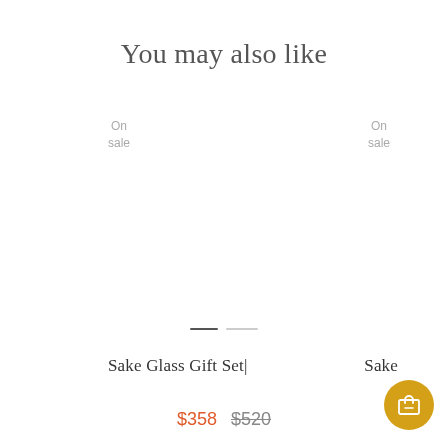You may also like
On sale
On sale
[Figure (other): Carousel slider pagination dots — one dark active dash and one lighter inactive dash]
Sake Glass Gift Set|
Sake
$358  $520